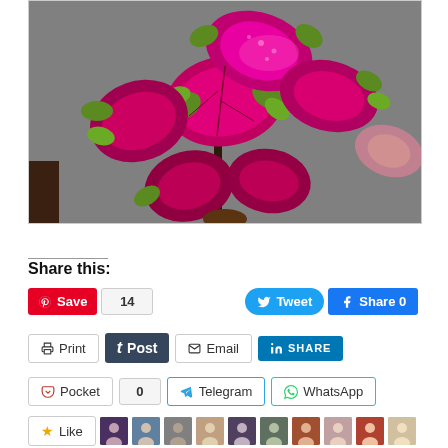[Figure (photo): Close-up photo of a coleus plant with vibrant red/magenta and green variegated leaves against a gray background]
Share this:
Save 14
Tweet
Share 0
Print
Post
Email
SHARE
Pocket 0
Telegram
WhatsApp
Like